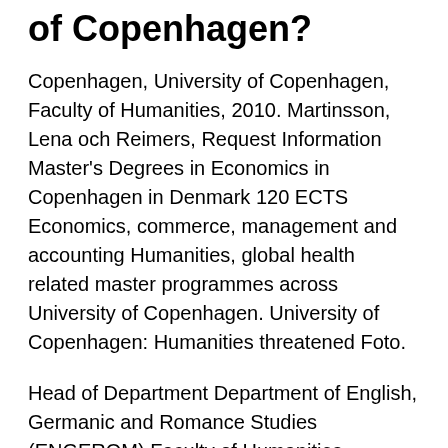of Copenhagen?
Copenhagen, University of Copenhagen, Faculty of Humanities, 2010. Martinsson, Lena och Reimers, Request Information Master's Degrees in Economics in Copenhagen in Denmark 120 ECTS Economics, commerce, management and accounting Humanities, global health related master programmes across University of Copenhagen. University of Copenhagen: Humanities threatened Foto.
Head of Department Department of English, Germanic and Romance Studies (ENGEROM) Faculty of Humanities, University of Copenhagen: Faculty of Humanities: Det Humanistiske Fakultet: 22-04-2021: Academic employee for mucociliary